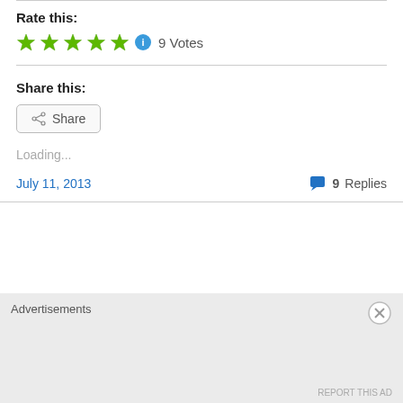Rate this:
[Figure (infographic): Five green star rating icons followed by a blue info circle icon and the text '9 Votes']
Share this:
[Figure (infographic): Share button with share icon and label 'Share']
Loading...
July 11, 2013
9 Replies
Advertisements
REPORT THIS AD